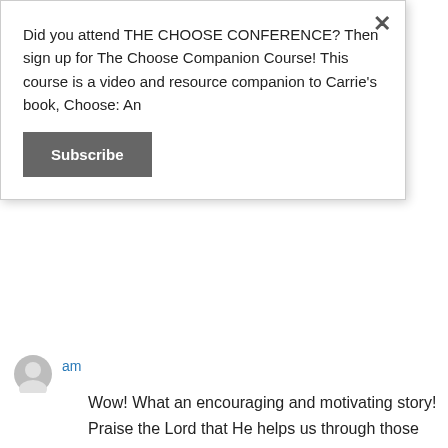Did you attend THE CHOOSE CONFERENCE? Then sign up for The Choose Companion Course! This course is a video and resource companion to Carrie's book, Choose: An
Subscribe
am
Wow! What an encouraging and motivating story! Praise the Lord that He helps us through those difficult things!
Like
Reply
carriewisehart on January 28, 2016 at 2:59 pm